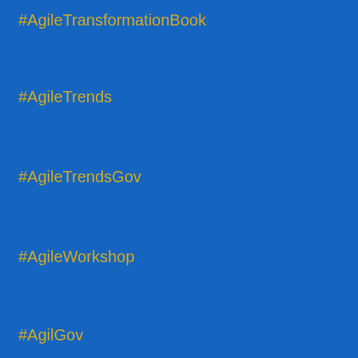#AgileTransformationBook
#AgileTrends
#AgileTrendsGov
#AgileWorkshop
#AgilGov
#agilist
#Agilist
#Agility
#agility
#Agility